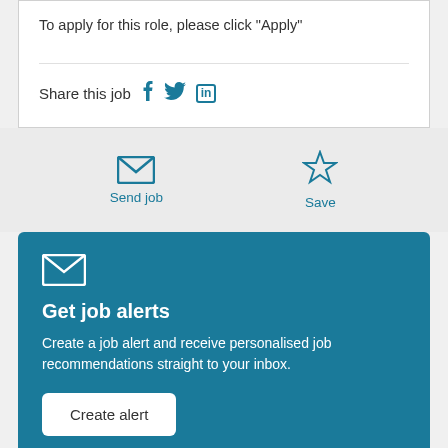To apply for this role, please click "Apply"
Share this job
Send job
Save
Get job alerts
Create a job alert and receive personalised job recommendations straight to your inbox.
Create alert